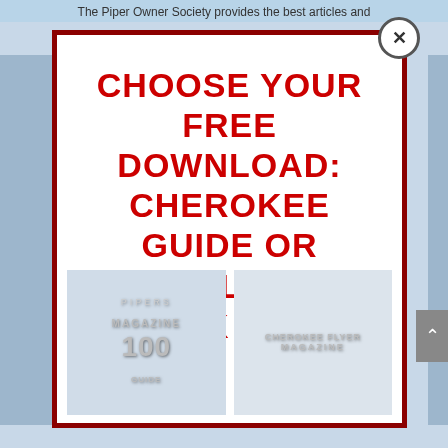The Piper Owner Society provides the best articles and advice for owners of Piper vintage aircraft.
[Figure (screenshot): Modal popup dialog with dark red border and close button (×), overlaying a light blue background page showing a magazine website. The modal contains red bold text: CHOOSE YOUR FREE DOWNLOAD: CHEROKEE GUIDE OR DIGITAL ISSUE CLICK HERE. At the bottom of the modal are two faded magazine cover thumbnails (PIPERS MAGAZINE and another magazine). A grey scroll-to-top arrow button appears on the right edge.]
CHOOSE YOUR FREE DOWNLOAD: CHEROKEE GUIDE OR DIGITAL ISSUE CLICK HERE